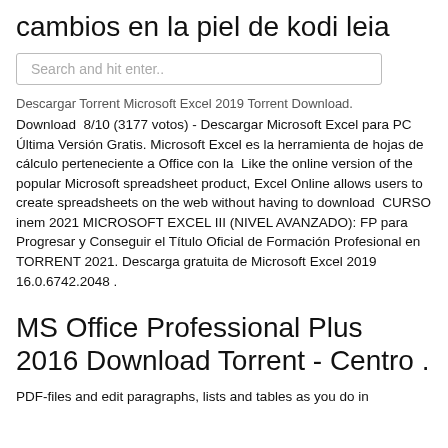cambios en la piel de kodi leia
Search and hit enter..
Descargar Torrent Microsoft Excel 2019 Torrent Download. Download 8/10 (3177 votos) - Descargar Microsoft Excel para PC Última Versión Gratis. Microsoft Excel es la herramienta de hojas de cálculo perteneciente a Office con la  Like the online version of the popular Microsoft spreadsheet product, Excel Online allows users to create spreadsheets on the web without having to download  CURSO inem 2021 MICROSOFT EXCEL III (NIVEL AVANZADO): FP para Progresar y Conseguir el Título Oficial de Formación Profesional en TORRENT 2021. Descarga gratuita de Microsoft Excel 2019 16.0.6742.2048 .
MS Office Professional Plus 2016 Download Torrent - Centro .
PDF-files and edit paragraphs, lists and tables as you do in